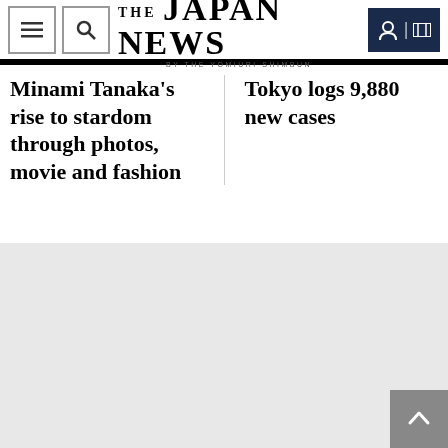THE JAPAN NEWS BY THE YOMIURI SHIMBUN
Minami Tanaka’s rise to stardom through photos, movie and fashion
Tokyo logs 9,880 new cases
[Figure (other): Gray placeholder section at bottom of page with scroll-to-top button]